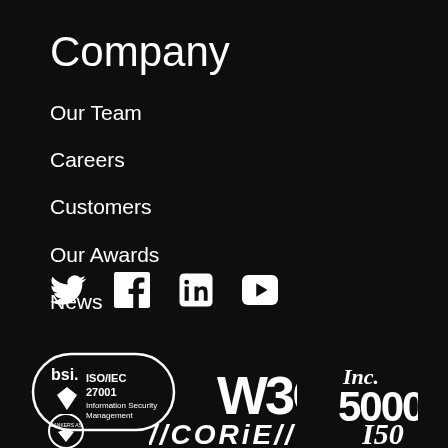Company
Our Team
Careers
Customers
Our Awards
News
[Figure (logo): Social media icons: Twitter, Facebook, LinkedIn, YouTube]
[Figure (logo): BSI ISO/IEC 27001 Information Security Management badge]
[Figure (logo): W3C logo]
[Figure (logo): Inc. 5000 logo]
[Figure (logo): Bankers As logo (partial) at bottom left]
[Figure (logo): GORIFY or similar logo text (partial) at bottom center]
[Figure (logo): I50 logo (partial) at bottom right]